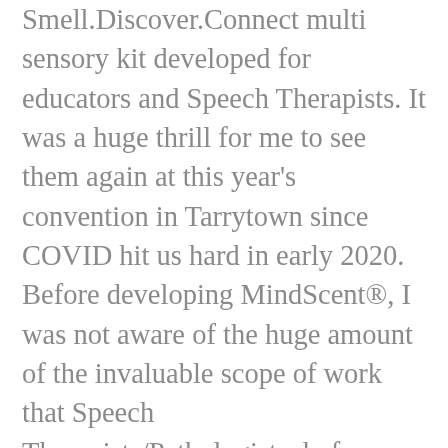Smell.Discover.Connect multi sensory kit developed for educators and Speech Therapists. It was a huge thrill for me to see them again at this year's convention in Tarrytown since COVID hit us hard in early 2020. Before developing MindScent®, I was not aware of the huge amount of the invaluable scope of work that Speech Therapists/Pathologists do for people of all age groups living with various diseases and impairments. Kudos to this fantastic group of professionals who have been giving me such great positive reinforcement and a wealth of feedback that have allowed me to discover all the various uses that MindScent® has to offer. Without their enthusiasm and interest in what I have created, I may not have been able to continue the work that